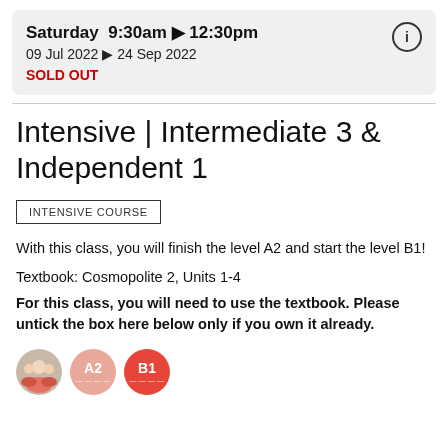Saturday  9:30am ▶ 12:30pm
09 Jul 2022 ▶ 24 Sep 2022
SOLD OUT
Intensive | Intermediate 3 & Independent 1
INTENSIVE COURSE
With this class, you will finish the level A2 and start the level B1!
Textbook: Cosmopolite 2, Units 1-4
For this class, you will need to use the textbook. Please untick the box here below only if you own it already.
[Figure (illustration): Three circular icons: a group photo of students, an A2 level bubble (pink/salmon), and a B1 level bubble (red)]